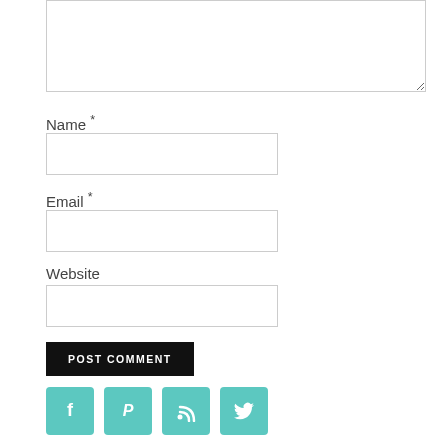[Figure (screenshot): Textarea input field at top of page]
Name *
[Figure (screenshot): Name text input field]
Email *
[Figure (screenshot): Email text input field]
Website
[Figure (screenshot): Website text input field]
[Figure (screenshot): POST COMMENT button (black background, white text)]
[Figure (infographic): Four teal social media icons: Facebook (f), Pinterest (P), RSS feed, Twitter (bird)]
[Figure (screenshot): Search this website input bar with search icon button, dashed border]
GET RECIPES SENT TO YOUR INBOX!